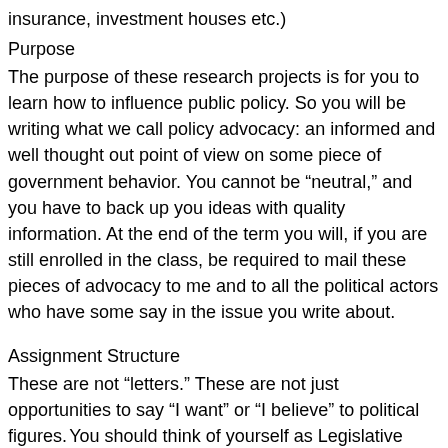insurance, investment houses etc.)
Purpose
The purpose of these research projects is for you to learn how to influence public policy. So you will be writing what we call policy advocacy: an informed and well thought out point of view on some piece of government behavior. You cannot be “neutral,” and you have to back up you ideas with quality information. At the end of the term you will, if you are still enrolled in the class, be required to mail these pieces of advocacy to me and to all the political actors who have some say in the issue you write about.
Assignment Structure
These are not “letters.” These are not just opportunities to say “I want” or “I believe” to political figures. You should think of yourself as Legislative Aides who have been asked to obtain and summarize real knowledge on real issues for real political leaders. You should find a politician on a House or Senate Committee, or in an administrative agency, with jurisdiction over the policy that has a